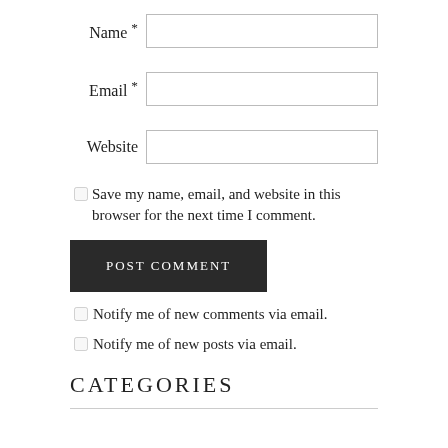Name *
Email *
Website
Save my name, email, and website in this browser for the next time I comment.
POST COMMENT
Notify me of new comments via email.
Notify me of new posts via email.
CATEGORIES